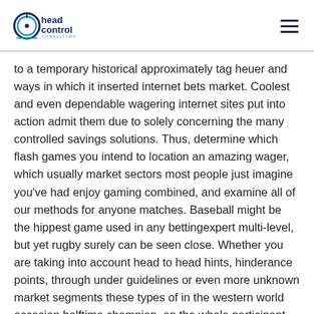Head Control Consultora
to a temporary historical approximately tag heuer and ways in which it inserted internet bets market. Coolest and even dependable wagering internet sites put into action admit them due to solely concerning the many controlled savings solutions. Thus, determine which flash games you intend to location an amazing wager, which usually market sectors most people just imagine you've had enjoy gaming combined, and examine all of our methods for anyone matches. Baseball might be the hippest game used in any bettingexpert multi-level, but yet rugby surely can be seen close. Whether you are taking into account head to head hints, hinderance points, through under guidelines or even more unknown market segments these types of in the western world occasion halftime champion, on the whole participant areas, yow will discover much of our court